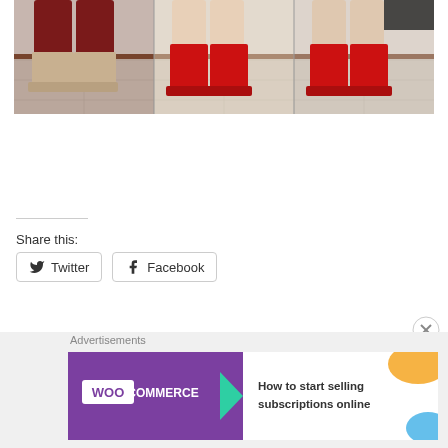[Figure (photo): Photo showing legs and feet of multiple people wearing boots — one person in dark red pants with beige ankle boots, two others wearing red ankle boots, against a tiled floor background.]
Share this:
Twitter
Facebook
Loading...
Advertisements
[Figure (screenshot): WooCommerce advertisement banner: purple left panel with WooCommerce logo and green arrow, white right panel with orange and blue decorative shapes, text reads 'How to start selling subscriptions online']